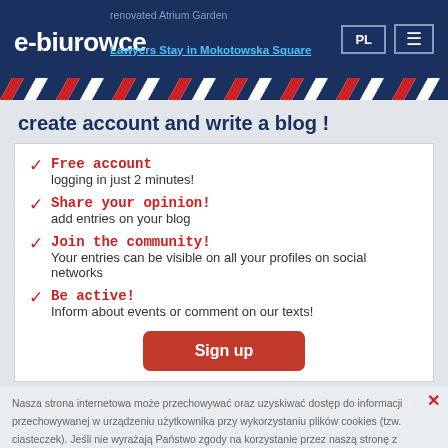e-biurowce | PL | Menu
renovated Atrium Garden
Lawyers Stay in Mokotowska Square
create account and write a blog !
Free account — logging in just 2 minutes!
Share your opinion! — add entries on your blog
Join the community! — Your entries can be visible on all your profiles on social networks
Be active! — Inform about events or comment on our texts!
Sign up
Nasza strona internetowa może przechowywać oraz uzyskiwać dostęp do informacji przechowywanej w urządzeniu użytkownika przy wykorzystaniu plików cookies (tzw. ciasteczek). Jeśli nie wyrażają Państwo zgody na korzystanie przez naszą stronę z plików cookies, prosimy o zmianę ustawień przeglądarki